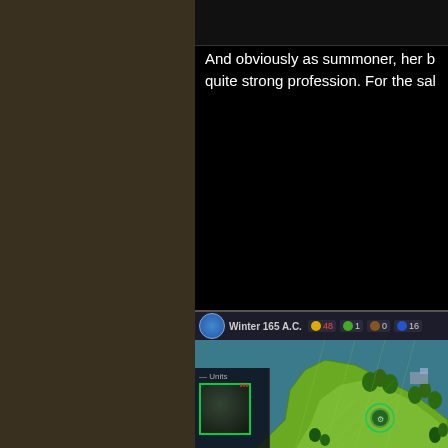And obviously as summoner, her b... quite strong profession. For the sak...
[Figure (screenshot): Strategy game screenshot showing Winter 165 A.C. turn with units panel, cities panel, and a hex-tile map with green terrain and water coast.]